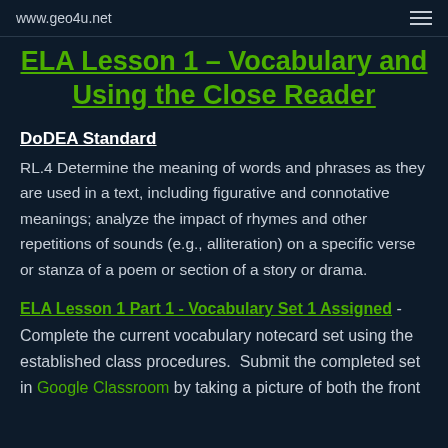www.geo4u.net
ELA Lesson 1 – Vocabulary and Using the Close Reader
DoDEA Standard
RL.4 Determine the meaning of words and phrases as they are used in a text, including figurative and connotative meanings; analyze the impact of rhymes and other repetitions of sounds (e.g., alliteration) on a specific verse or stanza of a poem or section of a story or drama.
ELA Lesson 1 Part 1 - Vocabulary Set 1 Assigned - Complete the current vocabulary notecard set using the established class procedures.  Submit the completed set in Google Classroom by taking a picture of both the front